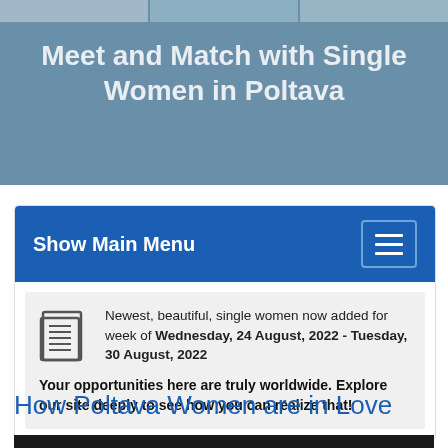[Figure (photo): Hero banner with photos of women at top and blue-grey city background. Overlay text reads 'Meet and Match with Single Women in Poltava'.]
Meet and Match with Single Women in Poltava
Show Main Menu
Newest, beautiful, single women now added for week of Wednesday, 24 August, 2022 - Tuesday, 30 August, 2022
Your opportunities here are truly worldwide. Explore our site deeply to see how you can realize that!
How Poltava Women are in Love